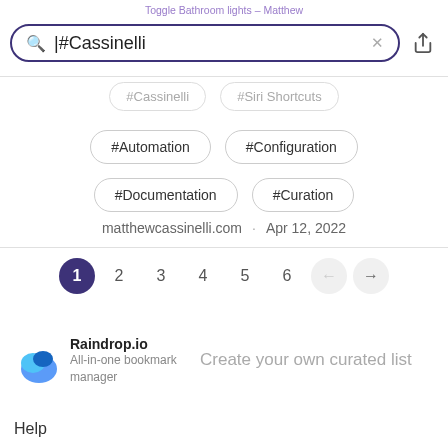Toggle Bathroom lights – Matthew
#Cassinelli
#Cassinelli
#Siri Shortcuts
#Automation
#Configuration
#Documentation
#Curation
matthewcassinelli.com · Apr 12, 2022
1 2 3 4 5 6
Raindrop.io
All-in-one bookmark manager
Create your own curated list
Help